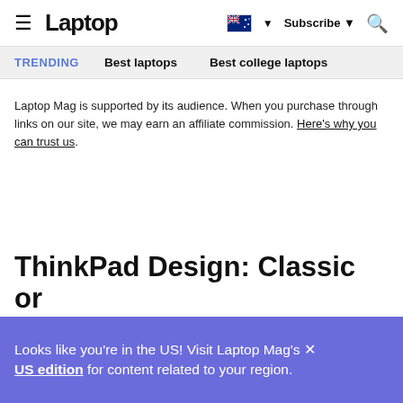Laptop | Subscribe | Search
TRENDING   Best laptops   Best college laptops
Laptop Mag is supported by its audience. When you purchase through links on our site, we may earn an affiliate commission. Here's why you can trust us.
ThinkPad Design: Classic or
Looks like you're in the US! Visit Laptop Mag's US edition for content related to your region.